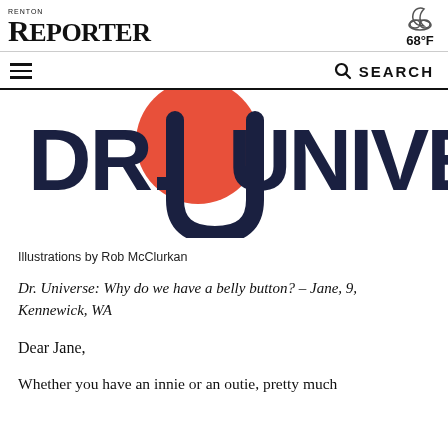Renton Reporter 68°F
[Figure (logo): DR. UNIVERSE logo with large dark navy bold text and orange circle behind the U]
Illustrations by Rob McClurkan
Dr. Universe: Why do we have a belly button? – Jane, 9, Kennewick, WA
Dear Jane,
Whether you have an innie or an outie, pretty much